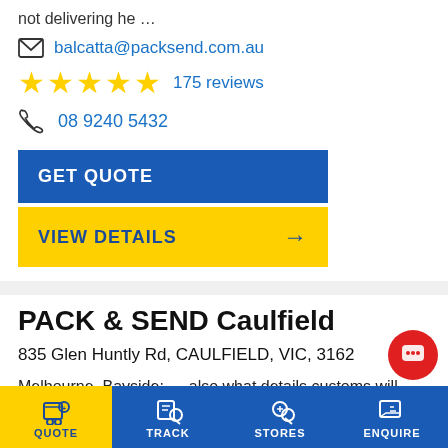not delivering he …
balcatta@packsend.com.au
★★★★★  175 reviews
08 9240 5432
GET QUOTE
VIEW DETAILS →
PACK & SEND Caulfield
835 Glen Huntly Rd, CAULFIELD, VIC, 3162
Melbourne, Bayside: … also what details customs will need in the country I was moving to. He also repacked some of my items as he believed …
QUOTE  TRACK  STORES  ENQUIRE